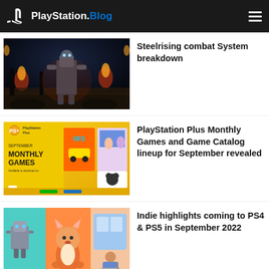PlayStation.Blog
[Figure (screenshot): Dark fantasy game screenshot – robot/automaton warrior standing amid flames and ruins for Steelrising]
Steelrising combat System breakdown
[Figure (screenshot): PlayStation Plus September Monthly Games banner featuring NFS and other game covers]
PlayStation Plus Monthly Games and Game Catalog lineup for September revealed
[Figure (screenshot): Colorful indie game art showing cartoon fox character, robot, and person in wheelchair]
Indie highlights coming to PS4 & PS5 in September 2022